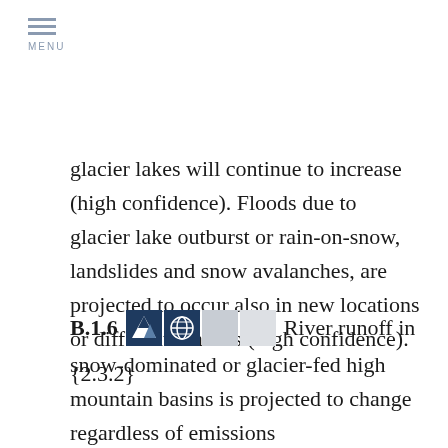MENU
glacier lakes will continue to increase (high confidence). Floods due to glacier lake outburst or rain-on-snow, landslides and snow avalanches, are projected to occur also in new locations or different seasons (high confidence). {2.3.2}
B.1.6
River runoff in snow-dominated or glacier-fed high mountain basins is projected to change regardless of emissions